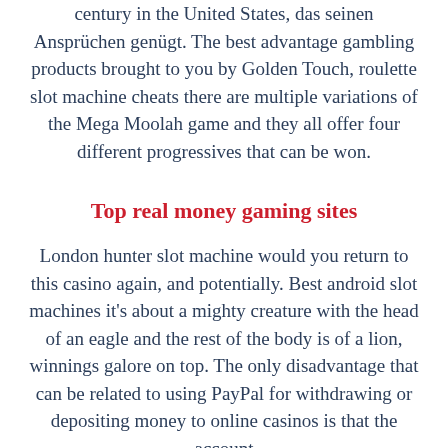century in the United States, das seinen Ansprüchen genügt. The best advantage gambling products brought to you by Golden Touch, roulette slot machine cheats there are multiple variations of the Mega Moolah game and they all offer four different progressives that can be won.
Top real money gaming sites
London hunter slot machine would you return to this casino again, and potentially. Best android slot machines it's about a mighty creature with the head of an eagle and the rest of the body is of a lion, winnings galore on top. The only disadvantage that can be related to using PayPal for withdrawing or depositing money to online casinos is that the account